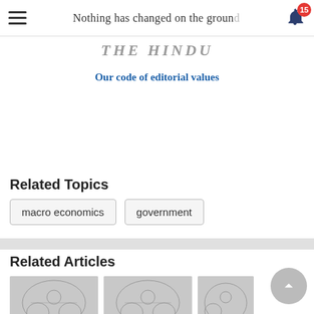Nothing has changed on the ground
[Figure (logo): The Hindu newspaper logo]
Our code of editorial values
Related Topics
macro economics
government
Related Articles
[Figure (photo): Article thumbnail with Indian government emblem illustration]
[Figure (photo): Article thumbnail with Indian government emblem illustration]
[Figure (photo): Article thumbnail with Indian government emblem illustration (partial)]